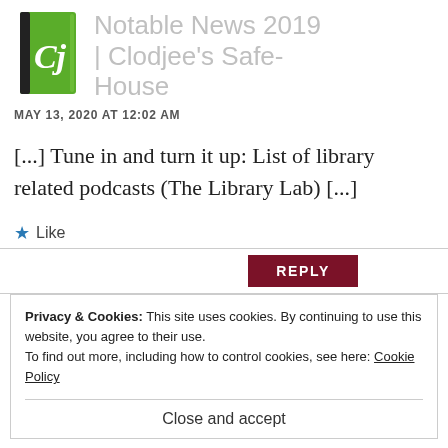[Figure (logo): Green book logo with white cursive 'Cj' on the cover]
Notable News 2019 | Clodjee's Safe-House
MAY 13, 2020 AT 12:02 AM
[...] Tune in and turn it up: List of library related podcasts (The Library Lab) [...]
★ Like
REPLY
Privacy & Cookies: This site uses cookies. By continuing to use this website, you agree to their use.
To find out more, including how to control cookies, see here: Cookie Policy
Close and accept
JULY 9, 2020 AT 6:09 AM